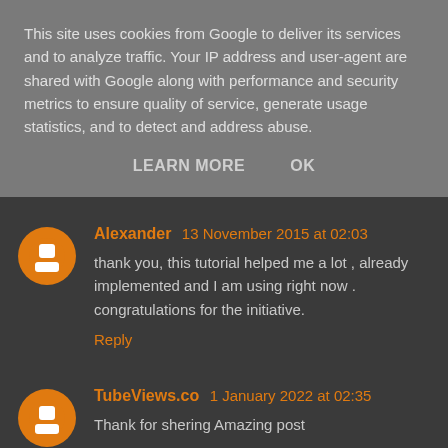This site uses cookies from Google to deliver its services and to analyze traffic. Your IP address and user-agent are shared with Google along with performance and security metrics to ensure quality of service, generate usage statistics, and to detect and address abuse.
LEARN MORE   OK
Alexander 13 November 2015 at 02:03
thank you, this tutorial helped me a lot , already implemented and I am using right now . congratulations for the initiative.
Reply
TubeViews.co 1 January 2022 at 02:35
Thank for shering Amazing post
tubeviews
Buy youtube views
Buy Instagram Reel views